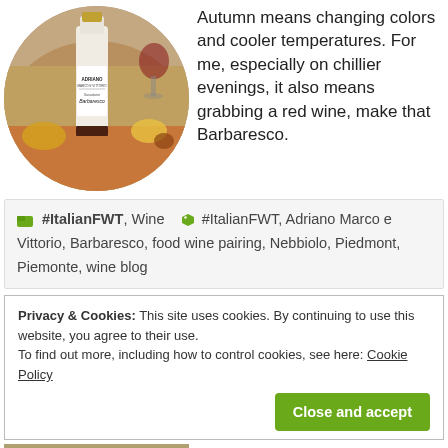[Figure (photo): Circular cropped photo of an Adriano Marco e Vittorio Barbaresco wine bottle on a table with food and autumn decorations in the background]
Autumn means changing colors and cooler temperatures. For me, especially on chillier evenings, it also means grabbing a red wine, make that Barbaresco.
🗀 #ItalianFWT, Wine 🏷 #ItalianFWT, Adriano Marco e Vittorio, Barbaresco, food wine pairing, Nebbiolo, Piedmont, Piemonte, wine blog
Privacy & Cookies: This site uses cookies. By continuing to use this website, you agree to their use. To find out more, including how to control cookies, see here: Cookie Policy
Close and accept
[Figure (photo): Partial bottom strip showing another photo thumbnail]
(more) sherry? It's not